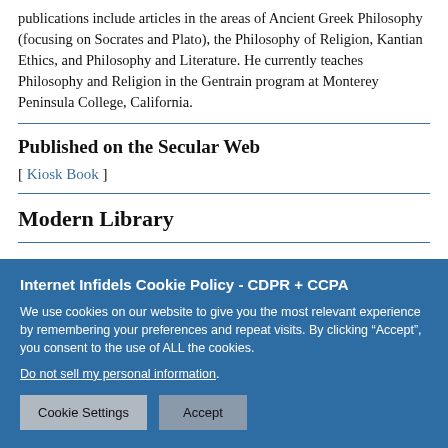publications include articles in the areas of Ancient Greek Philosophy (focusing on Socrates and Plato), the Philosophy of Religion, Kantian Ethics, and Philosophy and Literature. He currently teaches Philosophy and Religion in the Gentrain program at Monterey Peninsula College, California.
Published on the Secular Web
[ Kiosk Book ]
Modern Library
Internet Infidels Cookie Policy - CDPR + CCPA
We use cookies on our website to give you the most relevant experience by remembering your preferences and repeat visits. By clicking “Accept”, you consent to the use of ALL the cookies.
Do not sell my personal information.